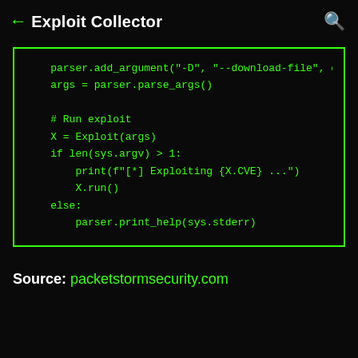← Exploit Collector 🔍
[Figure (screenshot): Code block with green monospace text on black background showing Python argument parser and exploit runner code]
Source: packetstormsecurity.com